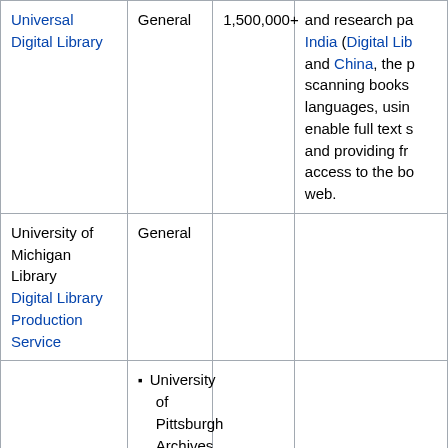| Name | Type | Size | Description |
| --- | --- | --- | --- |
| Universal Digital Library | General | 1,500,000+ | ...and research pa India (Digital Lib and China, the p scanning books languages, usin enable full text s and providing fr access to the bo web. |
| University of Michigan Library Digital Library Production Service | General |  |  |
|  | • University of Pittsburgh Archives
• 20th |  |  |